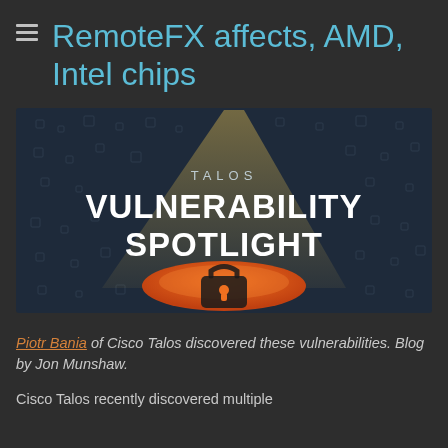RemoteFX affects, AMD, Intel chips
[Figure (illustration): Talos Vulnerability Spotlight graphic — a spotlight beam shining down onto an orange ellipse with a padlock icon, set against a dark background with faint security-related icons. Text reads 'TALOS' and 'VULNERABILITY SPOTLIGHT'.]
Piotr Bania of Cisco Talos discovered these vulnerabilities. Blog by Jon Munshaw.
Cisco Talos recently discovered multiple